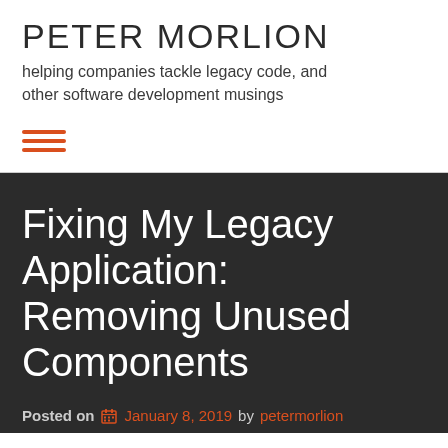PETER MORLION
helping companies tackle legacy code, and other software development musings
[Figure (other): Hamburger menu icon made of three orange horizontal lines]
Fixing My Legacy Application: Removing Unused Components
Posted on  January 8, 2019 by petermorlion